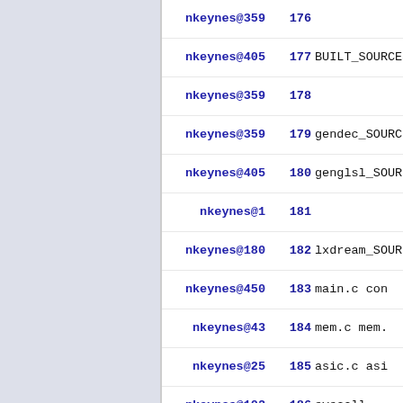nkeynes@359  176
nkeynes@405  177 BUILT_SOURCES = sh
nkeynes@359  178
nkeynes@359  179 gendec_SOURCES = t
nkeynes@405  180 genglsl_SOURCES =
nkeynes@1   181
nkeynes@180  182 lxdream_SOURCES =
nkeynes@450  183         main.c con
nkeynes@43   184         mem.c mem.
nkeynes@25   185         asic.c asi
nkeynes@102  186         syscall...